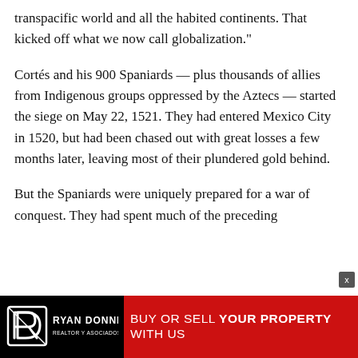transpacific world and all the habited continents. That kicked off what we now call globalization."
Cortés and his 900 Spaniards — plus thousands of allies from Indigenous groups oppressed by the Aztecs — started the siege on May 22, 1521. They had entered Mexico City in 1520, but had been chased out with great losses a few months later, leaving most of their plundered gold behind.
But the Spaniards were uniquely prepared for a war of conquest. They had spent much of the preceding
[Figure (advertisement): Ryan Donner Realtor y Asociados advertisement banner: black background with logo on left, red background on right with text 'BUY OR SELL YOUR PROPERTY WITH US']